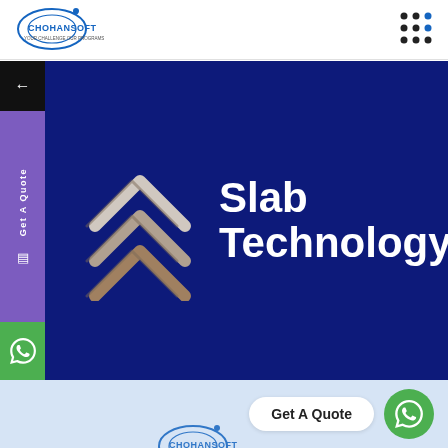[Figure (logo): Chohansoft logo with circular arrow icon and text 'CHOHANSOFT YOUR CHALLENGE OUR PROGRAMS']
[Figure (other): 3x3 grid of dots icon (hamburger menu), dark and blue dots]
[Figure (other): Dark blue hero banner with chevron arrows logo and text 'Slab Technology'. Left sidebar with purple 'Get A Quote' vertical text, black arrow back button, and green WhatsApp icon.]
Slab Technology
Get A Quote
[Figure (other): Light blue bottom section with 'Get A Quote' button and green WhatsApp circle icon]